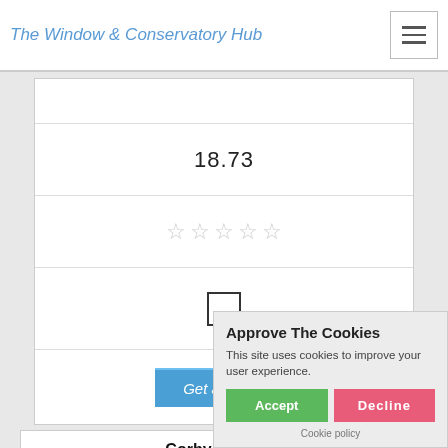The Window & Conservatory Hub
18.73
[Figure (other): Five empty/outline star rating icons (all grey/unfilled)]
[Figure (other): Empty checkbox (unfilled square)]
Get a Quote
Corby Borough Council, 10 Fleming Road, Earlstrees Industrial Estate, Corby, Northamptonshire, NN17 4SW
Approve The Cookies
This site uses cookies to improve your user experience.
Accept | Decline
Cookie policy